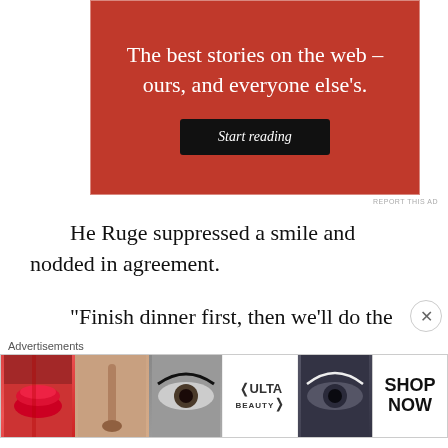[Figure (infographic): Red advertisement banner with white text reading 'The best stories on the web – ours, and everyone else's.' and a dark 'Start reading' button]
REPORT THIS AD
He Ruge suppressed a smile and nodded in agreement.
“Finish dinner first, then we’ll do the injection.” He Ruge unwittingly smiled after
Advertisements
[Figure (infographic): Advertisements strip showing makeup/beauty images (lips, brush, eye) and ULTA logo with SHOP NOW text]